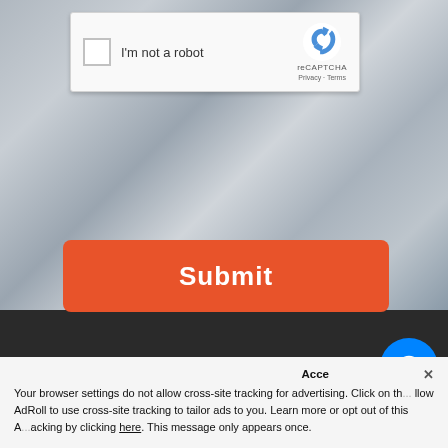[Figure (screenshot): reCAPTCHA widget with checkbox labeled I'm not a robot and reCAPTCHA branding with Privacy and Terms links]
[Figure (screenshot): Orange Submit button on a blurred background]
Accept  ×
Your browser settings do not allow cross-site tracking for advertising. Click on th... llow AdRoll to use cross-site tracking to tailor ads to you. Learn more or opt out of this A...acking by clicking here. This message only appears once.